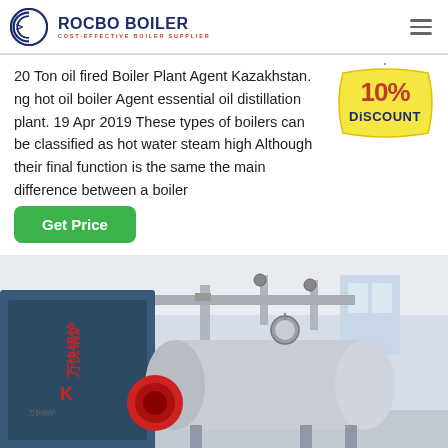[Figure (logo): Rocbo Boiler logo with circular C icon and tagline COST-EFFECTIVE BOILER SUPPLIER]
20 Ton oil fired Boiler Plant Agent Kazakhstan. ng hot oil boiler Agent essential oil distillation plant. 19 Apr 2019 These types of boilers can be classified as hot water steam high Although their final function is the same the main difference between a boiler
[Figure (infographic): 10% DISCOUNT badge in red and yellow promotional sticker style]
[Figure (photo): Industrial boiler plant installation showing large cylindrical boiler and piping system in a factory setting with Chinese branding visible]